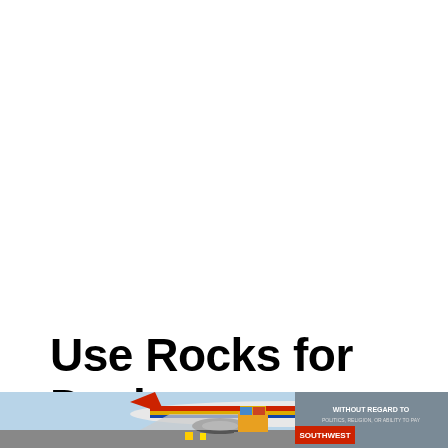Use Rocks for Decks,
[Figure (photo): A cargo airplane being loaded with freight on an airport tarmac. The plane has red, yellow, and blue livery. A gray banner on the right reads 'WITHOUT REGARD TO POLITICS, RELIGION, OR ABILITY TO PAY'.]